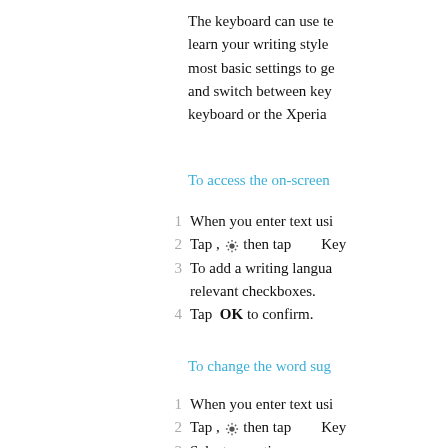The keyboard can use text to learn your writing style. most basic settings to ge and switch between key keyboard or the Xperia
To access the on-screen
1  When you enter text usi
2  Tap , then tap       Key
3  To add a writing langua relevant checkboxes.
4  Tap  OK to confirm.
To change the word sug
1  When you enter text usi
2  Tap , then tap       Key
3  Select an option